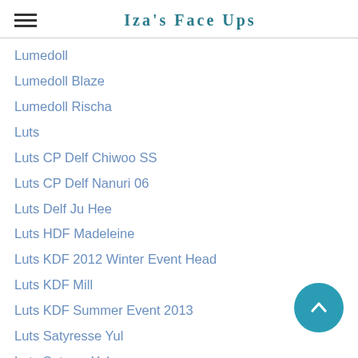Iza's Face Ups
Lumedoll
Lumedoll Blaze
Lumedoll Rischa
Luts
Luts CP Delf Chiwoo SS
Luts CP Delf Nanuri 06
Luts Delf Ju Hee
Luts HDF Madeleine
Luts KDF 2012 Winter Event Head
Luts KDF Mill
Luts KDF Summer Event 2013
Luts Satyresse Yul
Luts Satyros Yul
Luts SDF Loid
Luts SDF Summer Event 2016
Luts Senior Delf Girl Type 1 Body
Luts Senior Delf Isabella